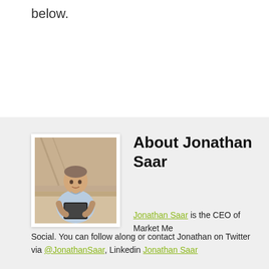below.
[Figure (photo): Photo of Jonathan Saar, a man in a light blue shirt sitting and holding a tablet, in an indoor setting]
About Jonathan Saar
Jonathan Saar is the CEO of Market Me Social. You can follow along or contact Jonathan on Twitter via @JonathanSaar, Linkedin Jonathan Saar